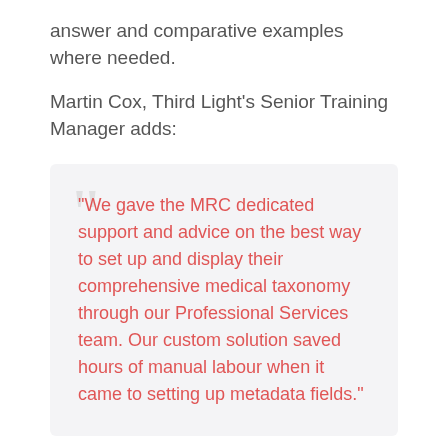answer and comparative examples where needed.
Martin Cox, Third Light's Senior Training Manager adds:
"We gave the MRC dedicated support and advice on the best way to set up and display their comprehensive medical taxonomy through our Professional Services team. Our custom solution saved hours of manual labour when it came to setting up metadata fields."